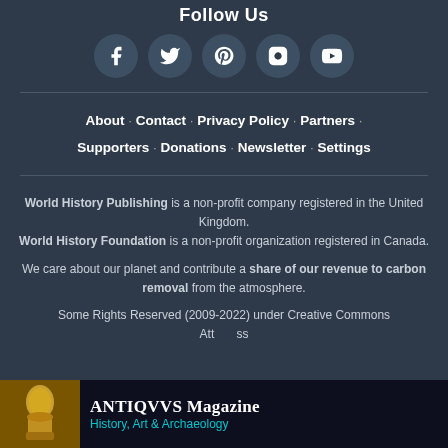Follow Us
[Figure (infographic): Five social media icons in circles: Facebook, Twitter, Pinterest, Instagram, YouTube]
About · Contact · Privacy Policy · Partners · Supporters · Donations · Newsletter · Settings
World History Publishing is a non-profit company registered in the United Kingdom. World History Foundation is a non-profit organization registered in Canada.
We care about our planet and contribute a share of our revenue to carbon removal from the atmosphere.
Some Rights Reserved (2009-2022) under Creative Commons Attribution...
[Figure (advertisement): ANTIQVVS Magazine advertisement - History, Art & Archaeology with golden bust image]